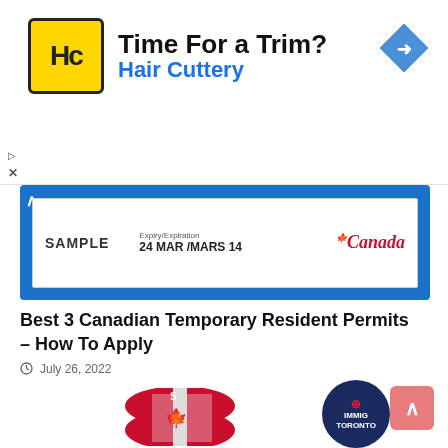[Figure (infographic): Hair Cuttery advertisement banner with HC logo, 'Time For a Trim?' headline, 'Hair Cuttery' subline in blue, and a blue diamond navigation arrow icon on the right.]
[Figure (photo): Canadian Temporary Resident Permit sample card on blue background showing 'SAMPLE', 'Expiry/Expiration 24 MAR /MARS 14', and Canada wordmark with maple leaf.]
Best 3 Canadian Temporary Resident Permits – How To Apply
July 26, 2022
[Figure (photo): 3D dollar sign styled with Canadian flag colors (red and white with maple leaf). IMMIG Toronto circular logo badge in upper right.]